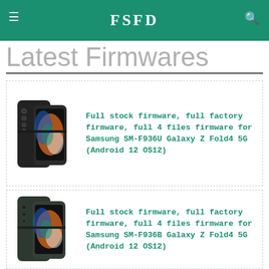FSFD
Latest Firmwares
Full stock firmware, full factory firmware, full 4 files firmware for Samsung SM-F936U Galaxy Z Fold4 5G (Android 12 OS12)
Full stock firmware, full factory firmware, full 4 files firmware for Samsung SM-F936B Galaxy Z Fold4 5G (Android 12 OS12)